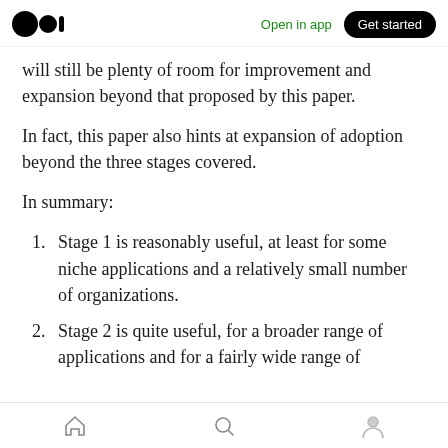Open in app | Get started
will still be plenty of room for improvement and expansion beyond that proposed by this paper.
In fact, this paper also hints at expansion of adoption beyond the three stages covered.
In summary:
Stage 1 is reasonably useful, at least for some niche applications and a relatively small number of organizations.
Stage 2 is quite useful, for a broader range of applications and for a fairly wide range of
Home | Search | Profile